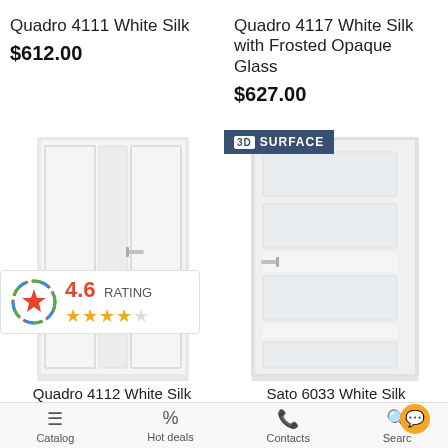Quadro 4111 White Silk
$612.00
Quadro 4117 White Silk with Frosted Opaque Glass
$627.00
[Figure (photo): White interior door Quadro 4111 White Silk - solid panel door with slim center detail and chrome handle]
[Figure (photo): White interior door Quadro 4117 White Silk with Frosted Opaque Glass - door with four horizontal frosted glass panels and chrome handle, with 3D Surface badge overlay]
4.6 RATING
Quadro 4112 White Silk
Sato 6033 White Silk
Catalog | Hot deals | Contacts | Search